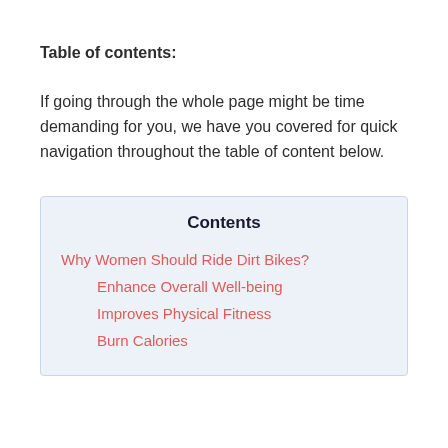Table of contents:
If going through the whole page might be time demanding for you, we have you covered for quick navigation throughout the table of content below.
| Contents |
| --- |
| Why Women Should Ride Dirt Bikes? |
| Enhance Overall Well-being |
| Improves Physical Fitness |
| Burn Calories |